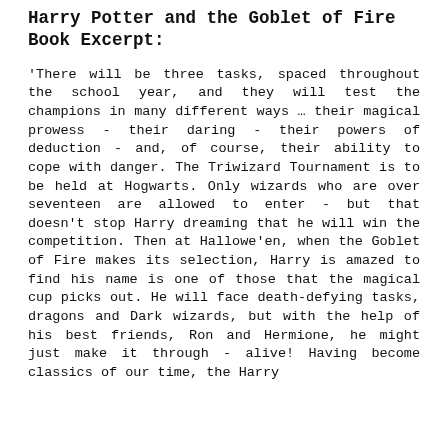Harry Potter and the Goblet of Fire Book Excerpt:
'There will be three tasks, spaced throughout the school year, and they will test the champions in many different ways … their magical prowess - their daring - their powers of deduction - and, of course, their ability to cope with danger. The Triwizard Tournament is to be held at Hogwarts. Only wizards who are over seventeen are allowed to enter - but that doesn't stop Harry dreaming that he will win the competition. Then at Hallowe'en, when the Goblet of Fire makes its selection, Harry is amazed to find his name is one of those that the magical cup picks out. He will face death-defying tasks, dragons and Dark wizards, but with the help of his best friends, Ron and Hermione, he might just make it through - alive! Having become classics of our time, the Harry